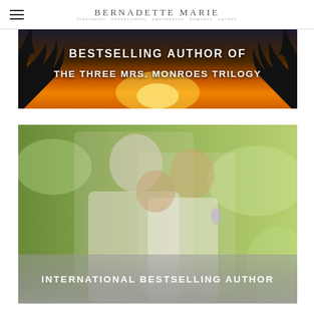BERNADETTE MARIE — Publishing Entertaining Empowering Romance Lovers
[Figure (photo): Dark sunset background with tree silhouettes and text overlay: BESTSELLING AUTHOR OF THE THREE MRS. MONROES TRILOGY]
[Figure (photo): Couple kissing outdoors in formal attire (man in light suit, woman in white dress with dangling earrings), green bokeh background, with text overlay at bottom: INTERNATIONAL BESTSELLING AUTHOR]